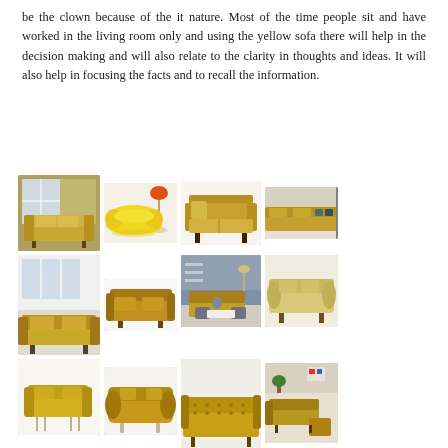be the clown because of the it nature. Most of the time people sit and have worked in the living room only and using the yellow sofa there will help in the decision making and will also relate to the clarity in thoughts and ideas. It will also help in focusing the facts and to recall the information.
[Figure (photo): Grid of yellow sofa images arranged in 3 rows of 4 photos each, showing various yellow/mustard sofas and couches in different styles and room settings.]